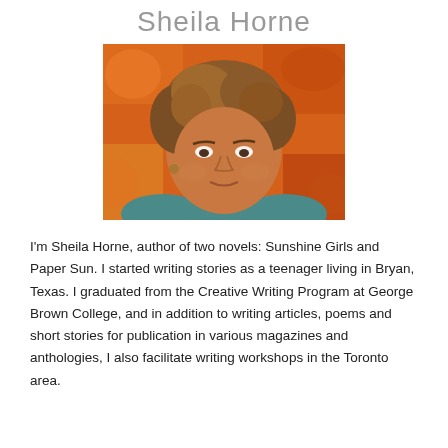Sheila Horne
[Figure (photo): Portrait photograph of Sheila Horne, a woman with short wavy brown hair, wearing a teal top, with an orange/floral background]
I'm Sheila Horne, author of two novels: Sunshine Girls and Paper Sun. I started writing stories as a teenager living in Bryan, Texas. I graduated from the Creative Writing Program at George Brown College, and in addition to writing articles, poems and short stories for publication in various magazines and anthologies, I also facilitate writing workshops in the Toronto area.